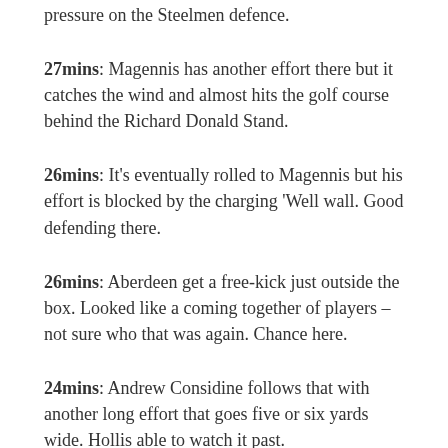pressure on the Steelmen defence.
27mins: Magennis has another effort there but it catches the wind and almost hits the golf course behind the Richard Donald Stand.
26mins: It's eventually rolled to Magennis but his effort is blocked by the charging 'Well wall. Good defending there.
26mins: Aberdeen get a free-kick just outside the box. Looked like a coming together of players – not sure who that was again. Chance here.
24mins: Andrew Considine follows that with another long effort that goes five or six yards wide. Hollis able to watch it past.